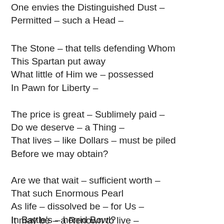One envies the Distinguished Dust –
Permitted – such a Head –
The Stone – that tells defending Whom
This Spartan put away
What little of Him we – possessed
In Pawn for Liberty –
The price is great – Sublimely paid –
Do we deserve – a Thing –
That lives – like Dollars – must be piled
Before we may obtain?
Are we that wait – sufficient worth –
That such Enormous Pearl
As life – dissolved be – for Us –
In Battle's – horrid Bowl?
It may be – a Renown to live –